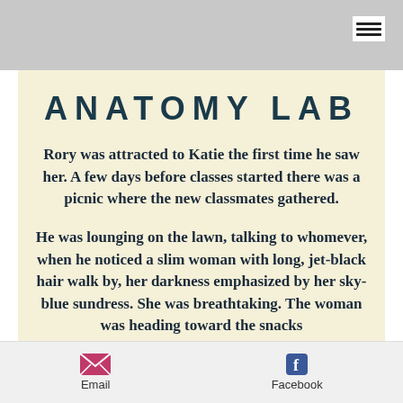ANATOMY LAB
ANATOMY LAB
Rory was attracted to Katie the first time he saw her. A few days before classes started there was a picnic where the new classmates gathered.
He was lounging on the lawn, talking to whomever, when he noticed a slim woman with long, jet-black hair walk by, her darkness emphasized by her sky-blue sundress. She was breathtaking. The woman was heading toward the snacks
Email  Facebook